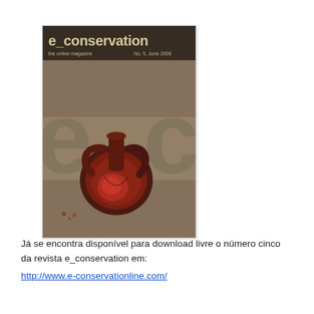[Figure (illustration): Cover of e_conservation magazine, No. 5, June 2008. Shows a stylized ancient fresco-like image of a red amphora/vessel against a textured brownish-grey background with large faded letters 'e_co' overlaid. Header reads 'e_conservation the online magazine No. 5, June 2008'.]
Já se encontra disponível para download livre o número cinco da revista e_conservation em:
http://www.e-conservationline.com/